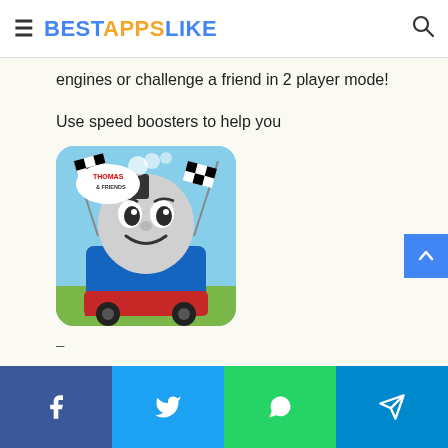BESTAPPSLIKE
engines or challenge a friend in 2 player mode!
Use speed boosters to help you
[Figure (photo): Thomas & Friends app icon showing Thomas the Tank Engine with checkered racing flags and BUDGE logo at the bottom]
Similarity Rate : 67 %  –
Similar Apps
Facebook | Twitter | WhatsApp | Telegram social share buttons